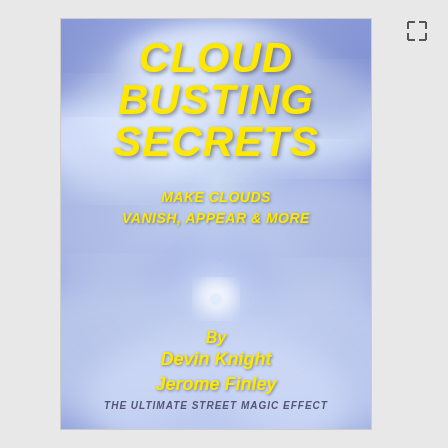[Figure (illustration): Book cover for 'Cloud Busting Secrets' by Devin Knight and Jerome Finley. Blue sky with clouds background. Title in large yellow italic bold text. Subtitle 'Make Clouds Vanish, Appear & More' in yellow. Authors listed below center. Footer text: 'The Ultimate Street Magic Effect'.]